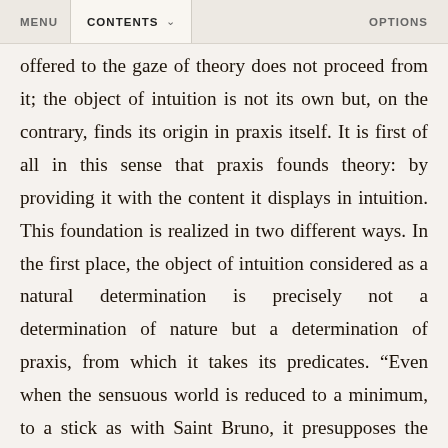MENU   CONTENTS   OPTIONS
offered to the gaze of theory does not proceed from it; the object of intuition is not its own but, on the contrary, finds its origin in praxis itself. It is first of all in this sense that praxis founds theory: by providing it with the content it displays in intuition. This foundation is realized in two different ways. In the first place, the object of intuition considered as a natural determination is precisely not a determination of nature but a determination of praxis, from which it takes its predicates. “Even when the sensuous world is reduced to a minimum, to a stick as with Saint Bruno, it presupposes the action of producing this stick.”¹⁰⁵ But Bauer is quickly dismissed in The German Ideology; it is